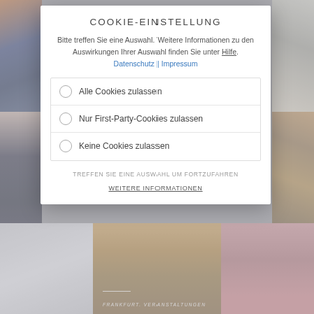[Figure (photo): Background collage of photos: city skyline at dusk (top-left), interior/architecture (top-right), woman portrait (middle-left), interior with bookshelf (middle-right), abstract textures (bottom-left), gold geometric pattern (bottom-center), person portrait (bottom-right)]
COOKIE-EINSTELLUNG
Bitte treffen Sie eine Auswahl. Weitere Informationen zu den Auswirkungen Ihrer Auswahl finden Sie unter Hilfe. Datenschutz | Impressum
Alle Cookies zulassen
Nur First-Party-Cookies zulassen
Keine Cookies zulassen
TREFFEN SIE EINE AUSWAHL UM FORTZUFAHREN
WEITERE INFORMATIONEN